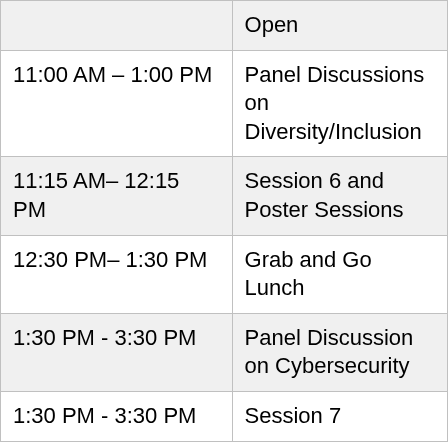| Time | Event |
| --- | --- |
|  | Open |
| 11:00 AM – 1:00 PM | Panel Discussions on Diversity/Inclusion |
| 11:15 AM– 12:15  PM | Session 6 and Poster Sessions |
| 12:30 PM– 1:30 PM | Grab and Go Lunch |
| 1:30 PM - 3:30 PM | Panel Discussion on Cybersecurity |
| 1:30 PM - 3:30 PM | Session 7 |